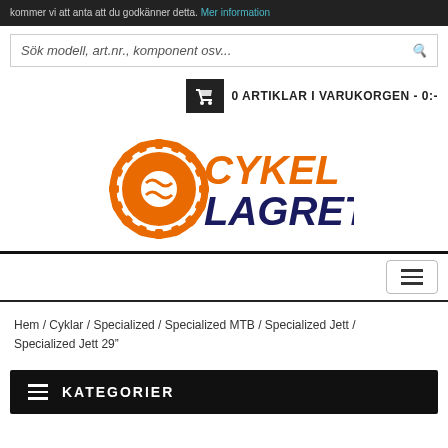kommer vi att anta att du godkänner detta. Mer information
Sök modell, art.nr., komponent osv...
0 ARTIKLAR I VARUKORGEN - 0:-
[Figure (logo): CykelLagret logo: orange gear icon with orange CYKEL text and dark navy LAGRET text]
Hem / Cyklar / Specialized / Specialized MTB / Specialized Jett / Specialized Jett 29"
KATEGORIER